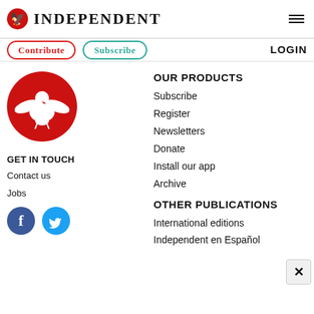[Figure (logo): The Independent newspaper logo with red eagle icon and INDEPENDENT text]
Contribute
Subscribe
LOGIN
[Figure (logo): The Independent red circular eagle logo]
GET IN TOUCH
Contact us
Jobs
[Figure (illustration): Facebook and Twitter social media icons]
OUR PRODUCTS
Subscribe
Register
Newsletters
Donate
Install our app
Archive
OTHER PUBLICATIONS
International editions
Independent en Español